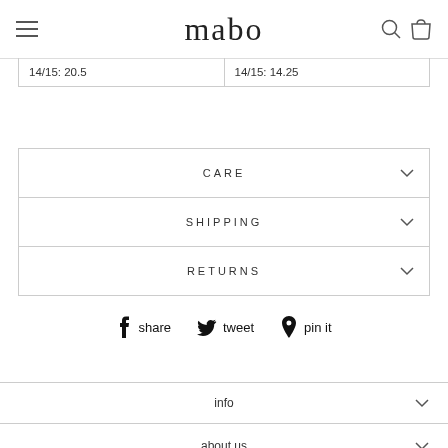mabo
| 14/15: 20.5 | 14/15: 14.25 |
CARE
SHIPPING
RETURNS
share  tweet  pin it
info
about us